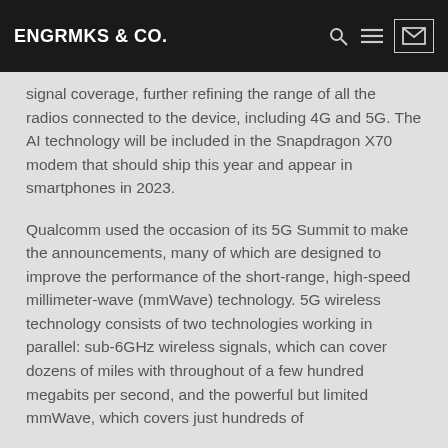ENGRMKS & CO.
signal coverage, further refining the range of all the radios connected to the device, including 4G and 5G. The AI technology will be included in the Snapdragon X70 modem that should ship this year and appear in smartphones in 2023.
Qualcomm used the occasion of its 5G Summit to make the announcements, many of which are designed to improve the performance of the short-range, high-speed millimeter-wave (mmWave) technology. 5G wireless technology consists of two technologies working in parallel: sub-6GHz wireless signals, which can cover dozens of miles with throughout of a few hundred megabits per second, and the powerful but limited mmWave, which covers just hundreds of